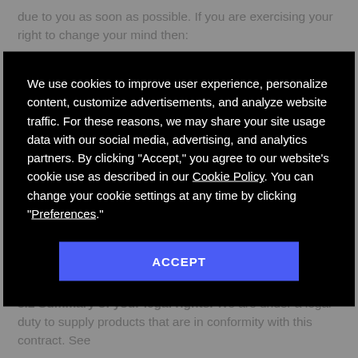due to you as soon as possible. If you are exercising your right to change your mind then:
(a) Your refund will be made within 14 days from the day on which we receive the product back from you or, if earlier, the day on
We use cookies to improve user experience, personalize content, customize advertisements, and analyze website traffic. For these reasons, we may share your site usage data with our social media, advertising, and analytics partners. By clicking “Accept,” you agree to our website’s cookie use as described in our Cookie Policy. You can change your cookie settings at any time by clicking “Preferences.”
ACCEPT
to us at info@beefeater.co.uk and Elmwood House, York Road, Kirk Hammerton YO26 8DH.
8.2 Summary of your legal rights. We are under a legal duty to supply products that are in conformity with this contract. See